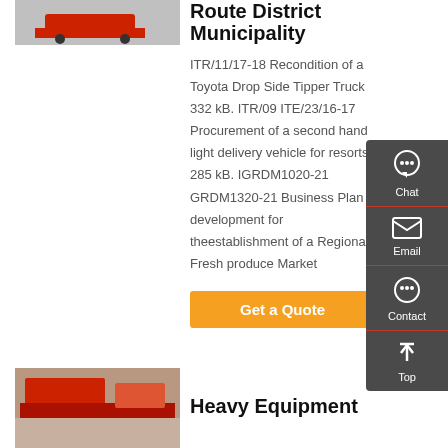[Figure (photo): Red Toyota Drop Side Tipper Truck photo (top)]
Route District Municipality
ITR/11/17-18 Recondition of a Toyota Drop Side Tipper Truck 332 kB. ITR/09 ITE/23/16-17 Procurement of a second hand light delivery vehicle for resorts 285 kB. IGRDM1020-21 GRDM1320-21 Business Plan development for theestablishment of a Regional Fresh produce Market
Get a Quote
[Figure (photo): Heavy equipment truck photo (bottom)]
Heavy Equipment